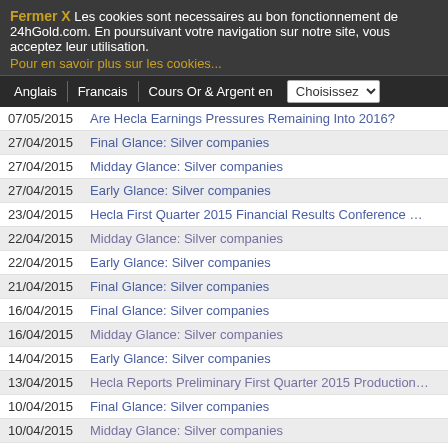Fermer X   Les cookies sont necessaires au bon fonctionnement de 24hGold.com. En poursuivant votre navigation sur notre site, vous acceptez leur utilisation.
Pour en savoir plus sur les cookies...
Anglais   Francais   Cours Or & Argent en   Choisissez
07/05/2015   Are Hecla Earnings Pressures Remaining Into 2016?
27/04/2015   Final Glance: Silver companies
27/04/2015   Midday Glance: Silver companies
27/04/2015   Early Glance: Silver companies
23/04/2015   Hecla First Quarter 2015 Financial Results Conference Call a...
22/04/2015   Midday Glance: Silver companies
22/04/2015   Early Glance: Silver companies
21/04/2015   Final Glance: Silver companies
16/04/2015   Final Glance: Silver companies
16/04/2015   Midday Glance: Silver companies
14/04/2015   Early Glance: Silver companies
13/04/2015   Hecla Reports Preliminary First Quarter 2015 Production Resu...
10/04/2015   Final Glance: Silver companies
10/04/2015   Midday Glance: Silver companies
10/04/2015   Early Glance: Silver companies
08/04/2015   Hecla to Participate at CIBC Gold Forum and European Gold Fo...